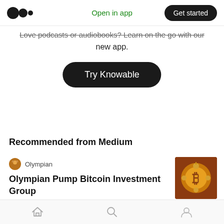Open in app | Get started
Love podcasts or audiobooks? Learn on the go with our new app.
Try Knowable
Recommended from Medium
Olympian
Olympian Pump Bitcoin Investment Group
[Figure (photo): Article thumbnail image showing a Bitcoin symbol with golden decorative elements]
Home | Search | Profile